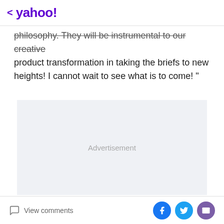< yahoo!
philosophy. They will be instrumental to our creative product transformation in taking the briefs to new heights! I cannot wait to see what is to come! "
[Figure (other): Advertisement placeholder box with light gray background and centered 'Advertisement' text label]
View comments | Facebook share | Twitter share | Email share